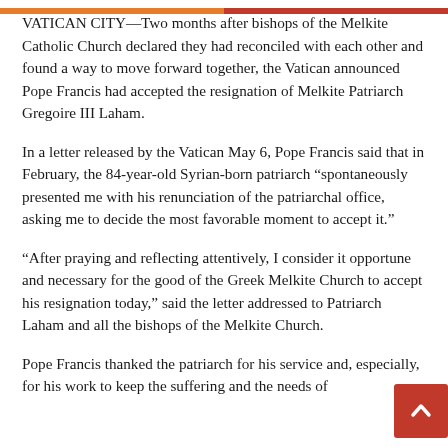VATICAN CITY—Two months after bishops of the Melkite Catholic Church declared they had reconciled with each other and found a way to move forward together, the Vatican announced Pope Francis had accepted the resignation of Melkite Patriarch Gregoire III Laham.
In a letter released by the Vatican May 6, Pope Francis said that in February, the 84-year-old Syrian-born patriarch “spontaneously presented me with his renunciation of the patriarchal office, asking me to decide the most favorable moment to accept it.”
“After praying and reflecting attentively, I consider it opportune and necessary for the good of the Greek Melkite Church to accept his resignation today,” said the letter addressed to Patriarch Laham and all the bishops of the Melkite Church.
Pope Francis thanked the patriarch for his service and, especially, for his work to keep the suffering and the needs of